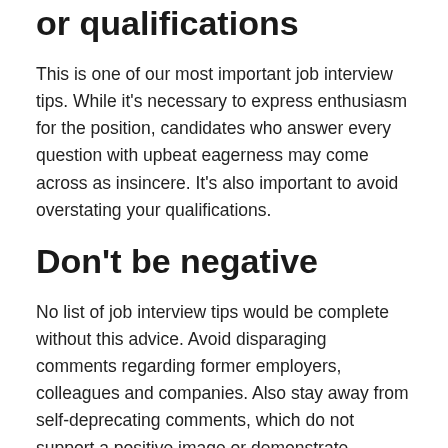or qualifications
This is one of our most important job interview tips. While it's necessary to express enthusiasm for the position, candidates who answer every question with upbeat eagerness may come across as insincere. It's also important to avoid overstating your qualifications.
Don't be negative
No list of job interview tips would be complete without this advice. Avoid disparaging comments regarding former employers, colleagues and companies. Also stay away from self-deprecating comments, which do not support a positive image or demonstrate competence.
By taking these interview tips to heart, you can make a better impression on hiring managers and